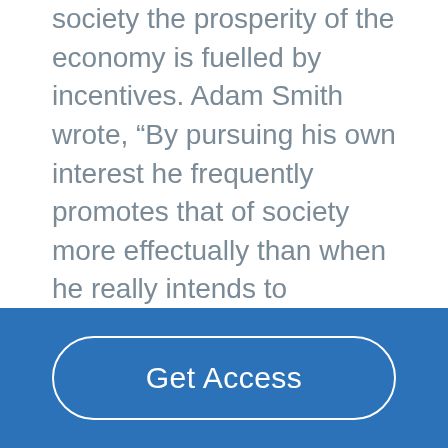society the prosperity of the economy is fuelled by incentives. Adam Smith wrote, “By pursuing his own interest he frequently promotes that of society more effectually than when he really intends to promote it”. This is in fact true because by the voluntary ability to act in our own self-interest we are willing to give up what we have for what we wish to have. This then requires that producers produce... ... middle of paper ... ...e to the result that regulated capitalism is the most morally favourable system. In the above essay I have clearly shown how pure capitalism is efficient yet unfair on one end and how socialism is not fair as well as impracticable on the other end....
[Figure (other): Blue footer bar with a 'Get Access' button (white rounded rectangle outline, white text)]